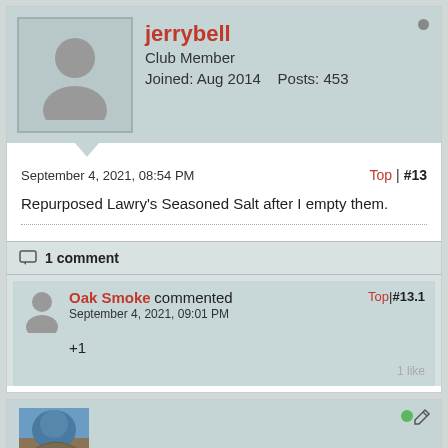jerrybell
Club Member
Joined: Aug 2014   Posts: 453
September 4, 2021, 08:54 PM
Top | #13
Repurposed Lawry's Seasoned Salt after I empty them.
1 comment
Oak Smoke commented
September 4, 2021, 09:01 PM
Top | #13.1
+1
1 like